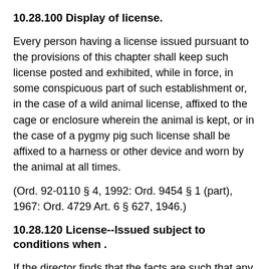10.28.100 Display of license.
Every person having a license issued pursuant to the provisions of this chapter shall keep such license posted and exhibited, while in force, in some conspicuous part of such establishment or, in the case of a wild animal license, affixed to the cage or enclosure wherein the animal is kept, or in the case of a pygmy pig such license shall be affixed to a harness or other device and worn by the animal at all times.
(Ord. 92-0110 § 4, 1992: Ord. 9454 § 1 (part), 1967: Ord. 4729 Art. 6 § 627, 1946.)
10.28.120 License--Issued subject to conditions when .
If the director finds that the facts are such that any one or more of the provisions of this Division 1 relating to the denial of the license under consideration would apply if the license is issued without conditions, but that conditions can be imposed which will eliminate any such ground for denial,